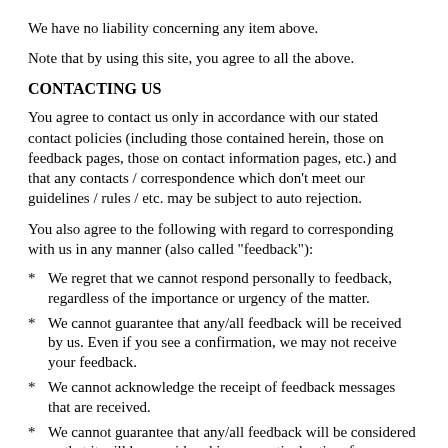We have no liability concerning any item above.
Note that by using this site, you agree to all the above.
CONTACTING US
You agree to contact us only in accordance with our stated contact policies (including those contained herein, those on feedback pages, those on contact information pages, etc.) and that any contacts / correspondence which don't meet our guidelines / rules / etc. may be subject to auto rejection.
You also agree to the following with regard to corresponding with us in any manner (also called "feedback"):
We regret that we cannot respond personally to feedback, regardless of the importance or urgency of the matter.
We cannot guarantee that any/all feedback will be received by us. Even if you see a confirmation, we may not receive your feedback.
We cannot acknowledge the receipt of feedback messages that are received.
We cannot guarantee that any/all feedback will be considered or that it will be considered in any particular time frame.
If feedback is considered, we cannot guarantee that any action will be taken, that it will be taken in any specified period...